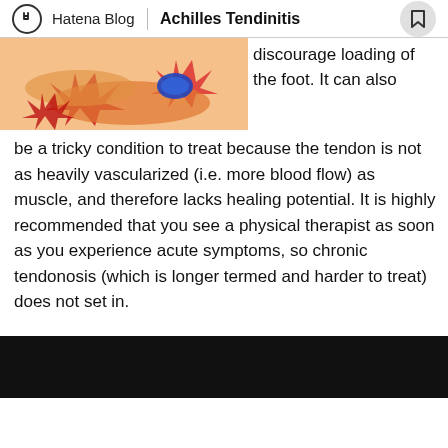Hatena Blog | Achilles Tendinitis
[Figure (illustration): Partial illustration of a foot/tendon anatomy diagram showing red and orange tissue with a blue oval structure, cropped at the top-left of the content area.]
discourage loading of the foot. It can also be a tricky condition to treat because the tendon is not as heavily vascularized (i.e. more blood flow) as muscle, and therefore lacks healing potential. It is highly recommended that you see a physical therapist as soon as you experience acute symptoms, so chronic tendonosis (which is longer termed and harder to treat) does not set in.